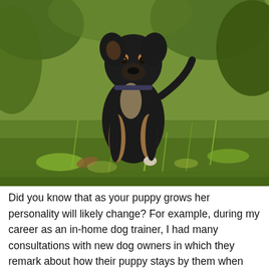[Figure (photo): A black and tan puppy with white markings standing on grass and green foliage, looking directly at the camera. The puppy appears to be a mixed breed, photographed outdoors surrounded by greenery.]
Did you know that as your puppy grows her personality will likely change? For example, during my career as an in-home dog trainer, I had many consultations with new dog owners in which they remark about how their puppy stays by them when they are outside so much so that they wonder if they will even need a leash or a fence! I am quick to let them know that their